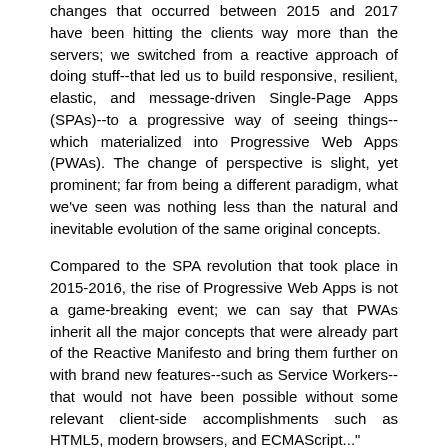changes that occurred between 2015 and 2017 have been hitting the clients way more than the servers; we switched from a reactive approach of doing stuff--that led us to build responsive, resilient, elastic, and message-driven Single-Page Apps (SPAs)--to a progressive way of seeing things--which materialized into Progressive Web Apps (PWAs). The change of perspective is slight, yet prominent; far from being a different paradigm, what we've seen was nothing less than the natural and inevitable evolution of the same original concepts.
Compared to the SPA revolution that took place in 2015-2016, the rise of Progressive Web Apps is not a game-breaking event; we can say that PWAs inherit all the major concepts that were already part of the Reactive Manifesto and bring them further on with brand new features--such as Service Workers--that would not have been possible without some relevant client-side accomplishments such as HTML5, modern browsers, and ECMAScript..."
Скачать ASP.NET Core 2 and Angular 5 (+Code):
Скачать с Douploads